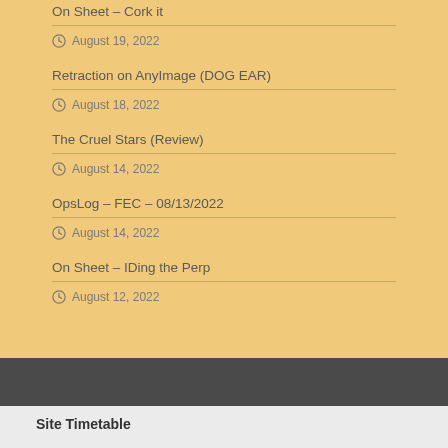On Sheet – Cork it
August 19, 2022
Retraction on AnyImage (DOG EAR)
August 18, 2022
The Cruel Stars (Review)
August 14, 2022
OpsLog – FEC – 08/13/2022
August 14, 2022
On Sheet – IDing the Perp
August 12, 2022
Site Timetable